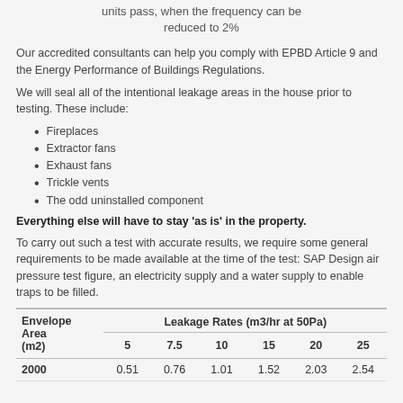units pass, when the frequency can be reduced to 2%
Our accredited consultants can help you comply with EPBD Article 9 and the Energy Performance of Buildings Regulations.
We will seal all of the intentional leakage areas in the house prior to testing. These include:
Fireplaces
Extractor fans
Exhaust fans
Trickle vents
The odd uninstalled component
Everything else will have to stay 'as is' in the property.
To carry out such a test with accurate results, we require some general requirements to be made available at the time of the test: SAP Design air pressure test figure, an electricity supply and a water supply to enable traps to be filled.
| Envelope Area (m2) | 5 | 7.5 | 10 | 15 | 20 | 25 |
| --- | --- | --- | --- | --- | --- | --- |
| 2000 | 0.51 | 0.76 | 1.01 | 1.52 | 2.03 | 2.54 |